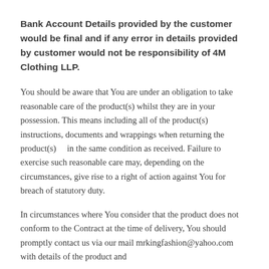Bank Account Details provided by the customer would be final and if any error in details provided by customer would not be responsibility of 4M Clothing LLP.
You should be aware that You are under an obligation to take reasonable care of the product(s) whilst they are in your possession. This means including all of the product(s) instructions, documents and wrappings when returning the product(s)    in the same condition as received. Failure to exercise such reasonable care may, depending on the circumstances, give rise to a right of action against You for breach of statutory duty.
In circumstances where You consider that the product does not conform to the Contract at the time of delivery, You should promptly contact us via our mail mrkingfashion@yahoo.com with details of the product and